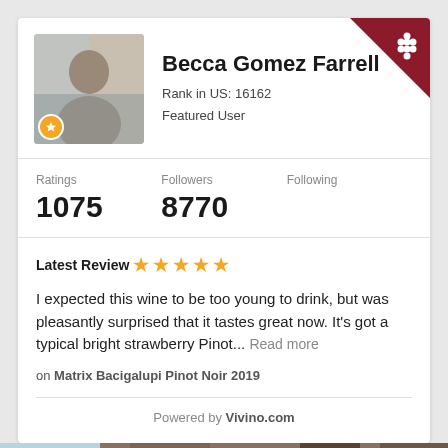Becca Gomez Farrell
Rank in US: 16162
Featured User
Ratings 1075  Followers 8770  Following
Latest Review ★★★★★
I expected this wine to be too young to drink, but was pleasantly surprised that it tastes great now. It's got a typical bright strawberry Pinot... Read more
on Matrix Bacigalupi Pinot Noir 2019
Powered by Vivino.com
Powered by WordPress and Food Recipes.